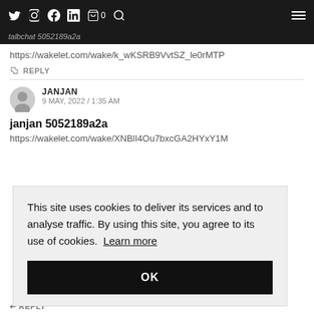Twitter Instagram Facebook LinkedIn Cart 0 Search Menu
talbchat 5052189a2a
https://wakelet.com/wake/k_wKSRB9VvtSZ_le0rMTP
REPLY
JANJAN
9 MAY, 2022 / 1:35 AM
janjan 5052189a2a
https://wakelet.com/wake/XNBlI4Ou7bxcGA2HYxY1M
This site uses cookies to deliver its services and to analyse traffic. By using this site, you agree to its use of cookies. Learn more
OK